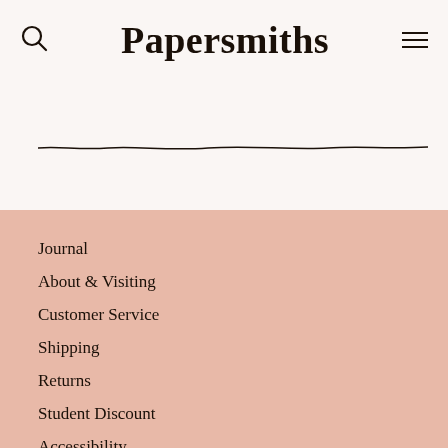Papersmiths
[Figure (illustration): Horizontal hand-drawn wavy divider line spanning the width of the page]
Journal
About & Visiting
Customer Service
Shipping
Returns
Student Discount
Accessibility
Careers
Brands